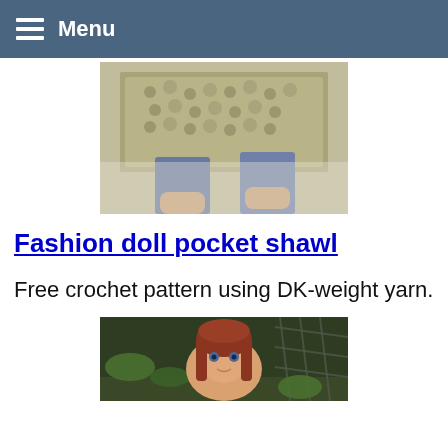Menu
[Figure (photo): Photo showing the lower body of a fashion doll wearing a chunky knit crochet shawl/wrap in beige/tan yarn, with denim jeans visible underneath, standing on a light surface.]
Fashion doll pocket shawl
Free crochet pattern using DK-weight yarn.
[Figure (photo): Photo of a red-haired fashion doll with blue eyes, partially visible from shoulders up, with green leaves and a lattice/wicker background.]